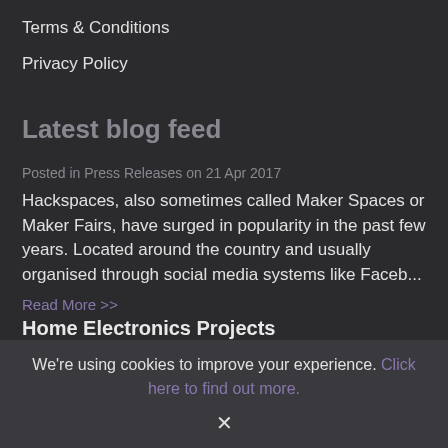Terms & Conditions
Privacy Policy
Latest blog feed
Posted in Press Releases on 21 Apr 2017
Hackspaces, also sometimes called Maker Spaces or Maker Fairs, have surged in popularity in the past few years. Located around the country and usually organised through social media systems like Faceb...
Read More >>
Home Electronics Projects
We're using cookies to improve your experience. Click here to find out more.
✕